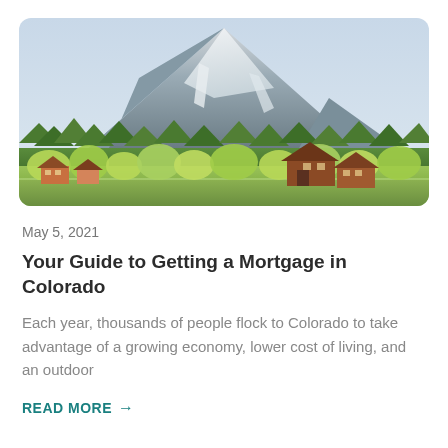[Figure (photo): Scenic Colorado mountain landscape with snow-capped peak, green pine and aspen trees, and rustic wooden houses/cabins in the foreground under a light sky]
May 5, 2021
Your Guide to Getting a Mortgage in Colorado
Each year, thousands of people flock to Colorado to take advantage of a growing economy, lower cost of living, and an outdoor
READ MORE →